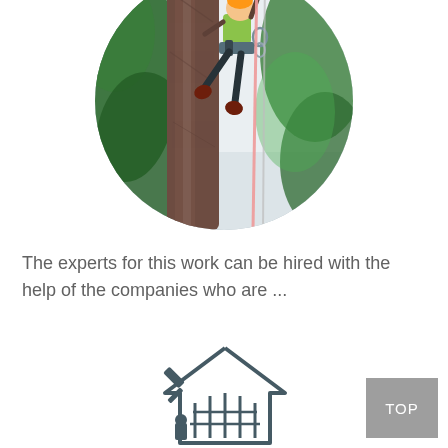[Figure (photo): Circular cropped photo of a tree climber/arborist in a yellow-green shirt climbing a large tree trunk using ropes, with green foliage and light sky in background]
The experts for this work can be hired with the help of the companies who are ...
[Figure (logo): A house/building logo icon in dark blue-grey outline style showing a house with a hammer or construction tool]
[Figure (other): TOP button - grey rectangle with white text 'TOP']